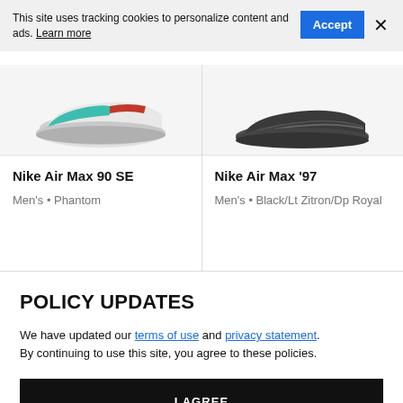This site uses tracking cookies to personalize content and ads. Learn more
Accept
×
[Figure (photo): Partial view of a Nike Air Max 90 SE shoe (Men's, Phantom colorway) — teal/red/grey sneaker sole visible from above]
Nike Air Max 90 SE
Men's • Phantom
[Figure (photo): Partial view of a Nike Air Max '97 shoe (Men's, Black/Lt Zitron/Dp Royal colorway) — dark sneaker sole visible from above]
Nike Air Max '97
Men's • Black/Lt Zitron/Dp Royal
POLICY UPDATES
We have updated our terms of use and privacy statement. By continuing to use this site, you agree to these policies.
I AGREE